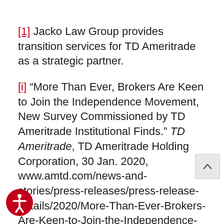[1] Jacko Law Group provides transition services for TD Ameritrade as a strategic partner.
[i] “More Than Ever, Brokers Are Keen to Join the Independence Movement, New Survey Commissioned by TD Ameritrade Institutional Finds.” TD Ameritrade, TD Ameritrade Holding Corporation, 30 Jan. 2020, www.amtd.com/news-and-stories/press-releases/press-release-details/2020/More-Than-Ever-Brokers-Are-Keen-to-Join-the-Independence-Movement-New-Survey-Commissioned-by-TD-Ameritrade-